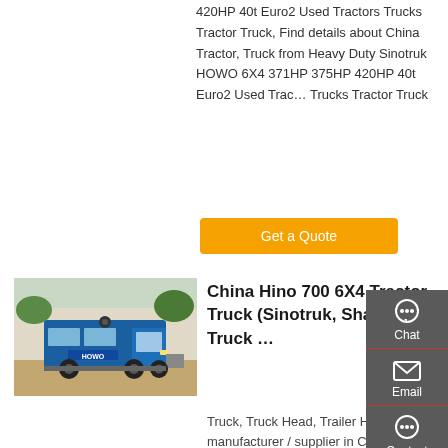420HP 40t Euro2 Used Tractors Trucks Tractor Truck, Find details about China Tractor, Truck from Heavy Duty Sinotruk HOWO 6X4 371HP 375HP 420HP 40t Euro2 Used Tractors Trucks Tractor Truck
Get a Quote
[Figure (photo): Blue Sinotruk HOWO tractor truck (semi-truck cab) parked outdoors on a dirt area with trees and a wall in the background.]
China Hino 700 6X4 Tractor Truck (Sinotruk, Shaoma Truck ...
Truck, Truck Head, Trailer Head manufacturer / supplier in China
[Figure (screenshot): Right sidebar with Chat, Email, Contact, and Top navigation icons on a dark gray background.]